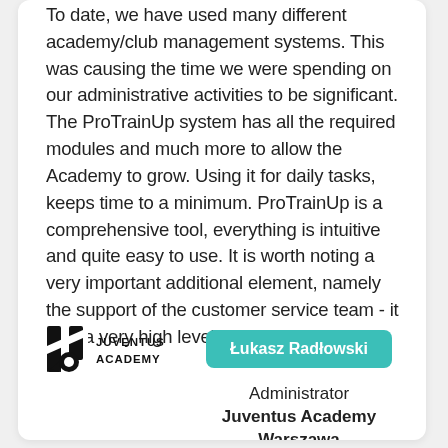To date, we have used many different academy/club management systems. This was causing the time we were spending on our administrative activities to be significant. The ProTrainUp system has all the required modules and much more to allow the Academy to grow. Using it for daily tasks, keeps time to a minimum. ProTrainUp is a comprehensive tool, everything is intuitive and quite easy to use. It is worth noting a very important additional element, namely the support of the customer service team - it is at a very high level!
Łukasz Radłowski
Administrator
Juventus Academy Warszawa
[Figure (logo): Juventus Academy logo with stylized J emblem and text JUVENTUS ACADEMY]